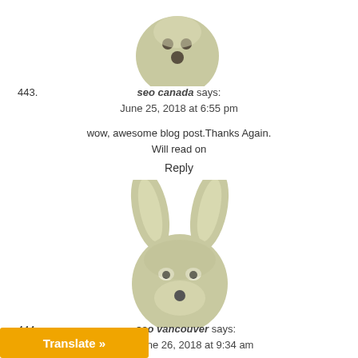[Figure (photo): Avatar image of a round animal face (top, comment 443)]
443.
seo canada says:
June 25, 2018 at 6:55 pm
wow, awesome blog post.Thanks Again.
Will read on
Reply
[Figure (photo): Avatar image of a deer/kangaroo-like animal face (comment 444)]
444.
seo vancouver says:
June 26, 2018 at 9:34 am
Translate »